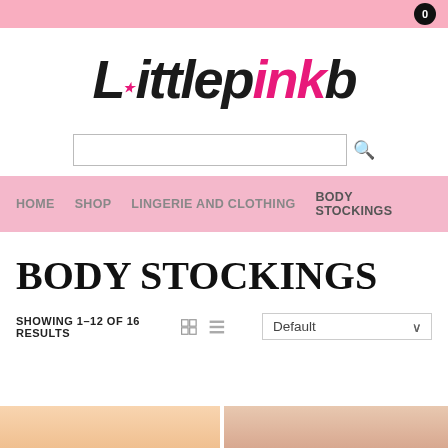0
[Figure (logo): LittlePink logo in stylized text with a pink star, black and pink colors]
Search box
HOME   SHOP   LINGERIE AND CLOTHING   BODY STOCKINGS
BODY STOCKINGS
SHOWING 1–12 OF 16 RESULTS  Default
[Figure (photo): Product images at bottom of page]